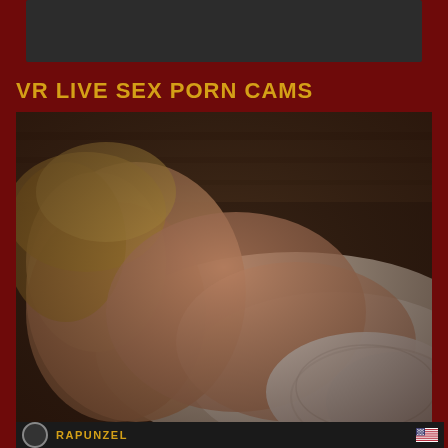[Figure (other): Dark gray rectangular banner/advertisement area at the top of the page]
VR LIVE SEX PORN CAMS
[Figure (photo): Blurred boudoir photo of a blonde woman lying on a bed wearing white lace lingerie, with wooden wall/headboard visible in background]
RAPUNZEL